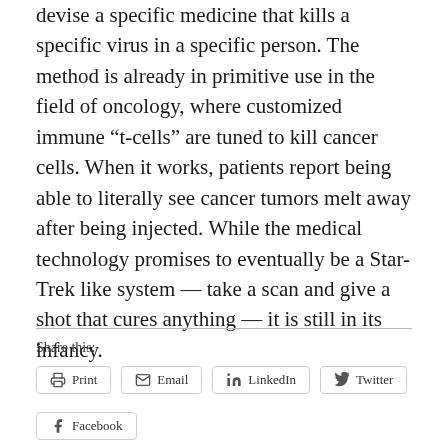devise a specific medicine that kills a specific virus in a specific person. The method is already in primitive use in the field of oncology, where customized immune “t-cells” are tuned to kill cancer cells. When it works, patients report being able to literally see cancer tumors melt away after being injected. While the medical technology promises to eventually be a Star-Trek like system — take a scan and give a shot that cures anything — it is still in its infancy.
Share this:
Print
Email
LinkedIn
Twitter
Facebook